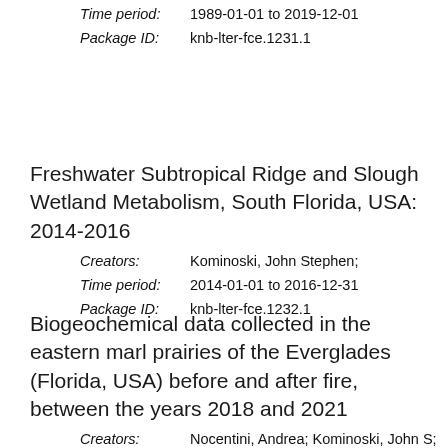Time period: 1989-01-01 to 2019-12-01
Package ID: knb-lter-fce.1231.1
Freshwater Subtropical Ridge and Slough Wetland Metabolism, South Florida, USA: 2014-2016
Creators: Kominoski, John Stephen;
Time period: 2014-01-01 to 2016-12-31
Package ID: knb-lter-fce.1232.1
Biogeochemical data collected in the eastern marl prairies of the Everglades (Florida, USA) before and after fire, between the years 2018 and 2021
Creators: Nocentini, Andrea; Kominoski, John S;
Time period: 2018-09-03 to 2021-03-12
Package ID: knb-lter-fce.1233.2